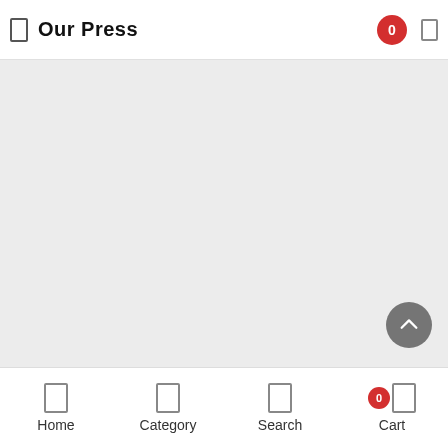Our Press
[Figure (screenshot): Empty gray content area placeholder]
Home  Category  Search  Cart